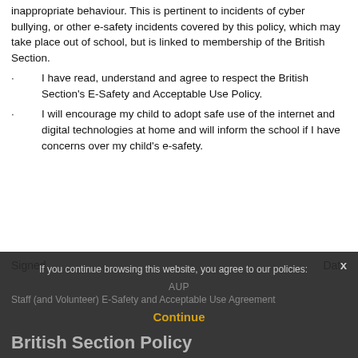inappropriate behaviour. This is pertinent to incidents of cyber bullying, or other e-safety incidents covered by this policy, which may take place out of school, but is linked to membership of the British Section.
I have read, understand and agree to respect the British Section’s E-Safety and Acceptable Use Policy.
I will encourage my child to adopt safe use of the internet and digital technologies at home and will inform the school if I have concerns over my child’s e-safety.
Signed                                                    Date
If you continue browsing this website, you agree to our policies:
AUP
Continue
Staff (and Volunteer) E-Safety and Acceptable Use Agreement
British Section Policy